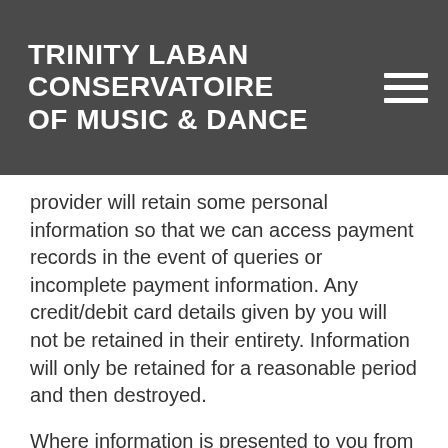TRINITY LABAN CONSERVATOIRE OF MUSIC & DANCE
provider will retain some personal information so that we can access payment records in the event of queries or incomplete payment information. Any credit/debit card details given by you will not be retained in their entirety. Information will only be retained for a reasonable period and then destroyed.
Where information is presented to you from other Trinity Laban systems it is provided in good faith but Trinity Laban does not warrant that such information accessible from this site is comprehensive, accurate or up to date